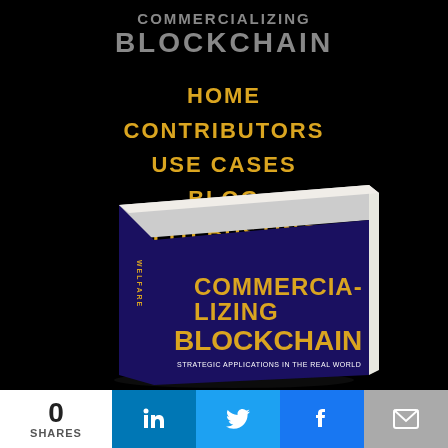COMMERCIALIZING BLOCKCHAIN
HOME
CONTRIBUTORS
USE CASES
BLOG
MYTH BUSTING
THE AUTHOR
[Figure (photo): 3D rendered book cover of 'Commercializing Blockchain: Strategic Applications in the Real World' with dark purple/navy cover and yellow title text, spine showing 'WELFARE']
0 SHARES  [LinkedIn] [Twitter] [Facebook] [Email]